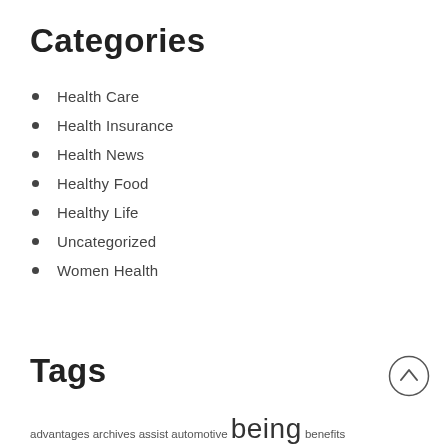Categories
Health Care
Health Insurance
Health News
Healthy Food
Healthy Life
Uncategorized
Women Health
Tags
advantages archives assist automotive being benefits